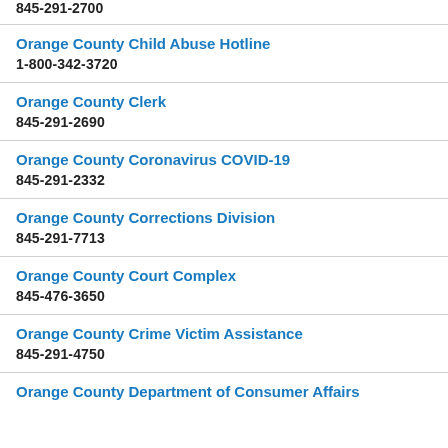845-291-2700
Orange County Child Abuse Hotline
1-800-342-3720
Orange County Clerk
845-291-2690
Orange County Coronavirus COVID-19
845-291-2332
Orange County Corrections Division
845-291-7713
Orange County Court Complex
845-476-3650
Orange County Crime Victim Assistance
845-291-4750
Orange County Department of Consumer Affairs